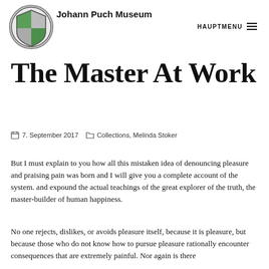Johann Puch Museum — HAUPTMENU
The Master At Work
7. September 2017   Collections, Melinda Stoker
But I must explain to you how all this mistaken idea of denouncing pleasure and praising pain was born and I will give you a complete account of the system. and expound the actual teachings of the great explorer of the truth, the master-builder of human happiness.
No one rejects, dislikes, or avoids pleasure itself, because it is pleasure, but because those who do not know how to pursue pleasure rationally encounter consequences that are extremely painful. Nor again is there